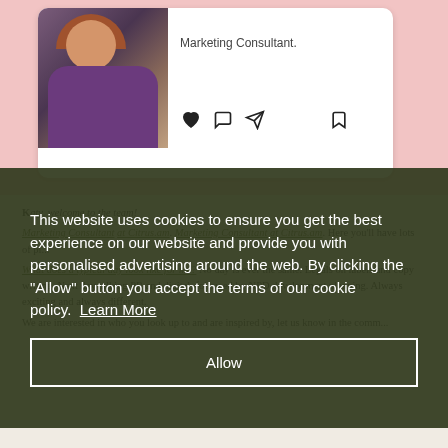[Figure (screenshot): Instagram-style social media card with a photo of a woman and 'Marketing Consultant.' text, with like, comment, share, and save icons]
Katy, welcome to the team! Marketing Consultant at Citrus.am. No day is ever the same. Legals on labels and copy writing. Next day talking PR and digital, followed by NPD development planning. Always exciting and always different.
We are interested in who you look up to and are inspired by, let us know in the comments what your favourite brand, blog and inspiration is.
[Figure (screenshot): Cookie consent overlay on dark olive/green background with text: 'This website uses cookies to ensure you get the best experience on our website and provide you with personalised advertising around the web. By clicking the "Allow" button you accept the terms of our cookie policy. Learn More' and an 'Allow' button]